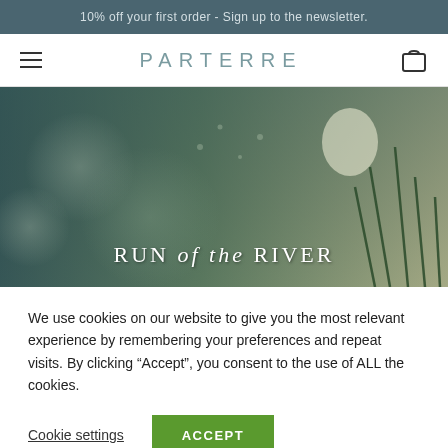10% off your first order - Sign up to the newsletter.
PARTERRE
[Figure (photo): Hero image of dandelion seeds and grass blades with teal/green and cream color tones, overlaid with text 'RUN of the RIVER']
We use cookies on our website to give you the most relevant experience by remembering your preferences and repeat visits. By clicking “Accept”, you consent to the use of ALL the cookies.
Cookie settings   ACCEPT